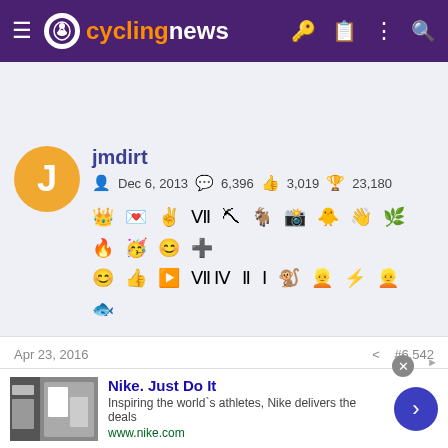cyclingnews
[Figure (screenshot): User profile card for 'jmdirt' showing join date Dec 6, 2013, 6,396 messages, 3,019 likes, 23,180 points, and a row of achievement badge icons]
Apr 23, 2016   #6,542
The Norman deal is everything I hate about the NFL...a sport I love to watch.
[Figure (other): Nike advertisement: 'Nike. Just Do It' - Inspiring the world's athletes, Nike delivers the deals. www.nike.com]